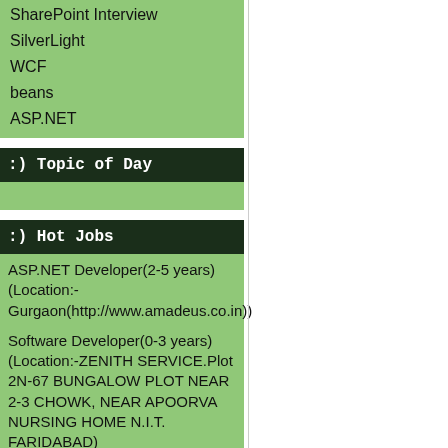SharePoint Interview
SilverLight
WCF
beans
ASP.NET
:) Topic of Day
:) Hot Jobs
ASP.NET Developer(2-5 years) (Location:-Gurgaon(http://www.amadeus.co.in))
Software Developer(0-3 years) (Location:-ZENITH SERVICE.Plot 2N-67 BUNGALOW PLOT NEAR 2-3 CHOWK, NEAR APOORVA NURSING HOME N.I.T. FARIDABAD)
Dot Net Developer(6-7 years) (Location:-Chennai)